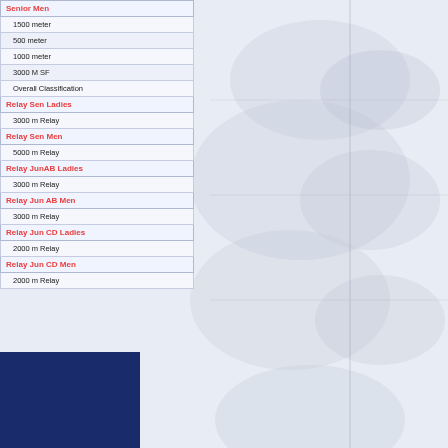Senior Men
1500 meter
500 meter
1000 meter
3000 M SF
Overall Classification
Relay Sen Ladies
3000 m Relay
Relay Sen Men
5000 m Relay
Relay JunAB Ladies
3000 m Relay
Relay Jun AB Men
3000 m Relay
Relay Jun CD Ladies
2000 m Relay
Relay Jun CD Men
2000 m Relay
[Figure (illustration): Faded background illustration of speed skaters in motion, light blue/grey tones]